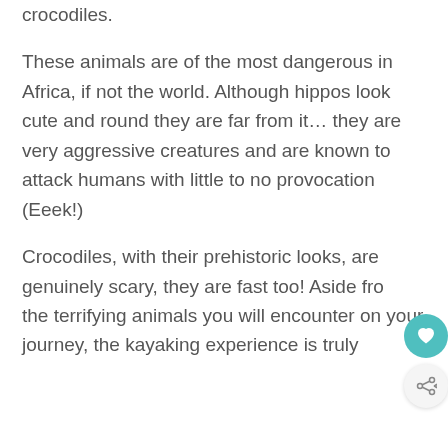crocodiles.
These animals are of the most dangerous in Africa, if not the world. Although hippos look cute and round they are far from it… they are very aggressive creatures and are known to attack humans with little to no provocation (Eeek!)
Crocodiles, with their prehistoric looks, are genuinely scary, they are fast too! Aside fro the terrifying animals you will encounter on your journey, the kayaking experience is truly